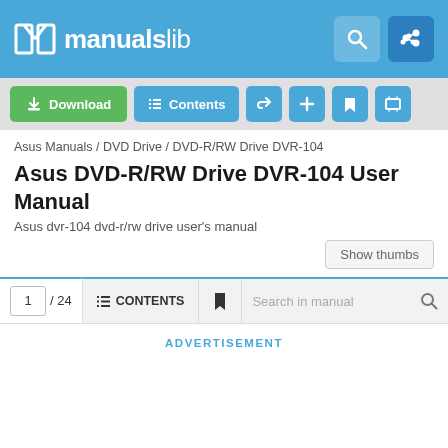manualslib
[Figure (screenshot): ManualsLib website toolbar with Download, Contents, share, add, bookmark, and print buttons]
Asus Manuals / DVD Drive / DVD-R/RW Drive DVR-104
Asus DVD-R/RW Drive DVR-104 User Manual
Asus dvr-104 dvd-r/rw drive user's manual
1 / 24  CONTENTS  Search in manual  ADVERTISEMENT
Download this manual